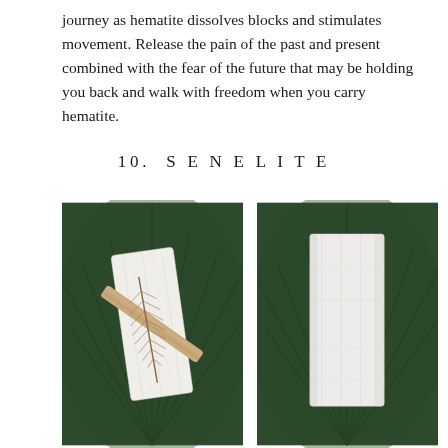journey as hematite dissolves blocks and stimulates movement. Release the pain of the past and present combined with the fear of the future that may be holding you back and walk with freedom when you carry hematite.
10. SENELITE
[Figure (photo): Two photos of selenite crystals on green tropical leaf backgrounds. Left photo shows a white selenite slab with a wooden stick and brown feather placed on top. Right photo shows a single white striated selenite crystal bar on its own.]